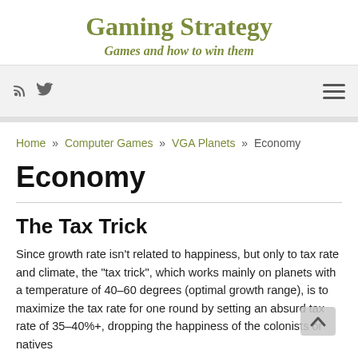Gaming Strategy
Games and how to win them
RSS Twitter [hamburger menu]
Home » Computer Games » VGA Planets » Economy
Economy
The Tax Trick
Since growth rate isn't related to happiness, but only to tax rate and climate, the "tax trick", which works mainly on planets with a temperature of 40–60 degrees (optimal growth range), is to maximize the tax rate for one round by setting an absurd tax rate of 35–40%+, dropping the happiness of the colonists or natives